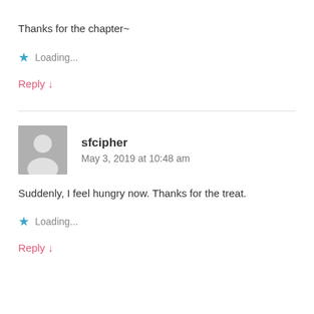Thanks for the chapter~
★ Loading...
Reply ↓
sfcipher
May 3, 2019 at 10:48 am
Suddenly, I feel hungry now. Thanks for the treat.
★ Loading...
Reply ↓